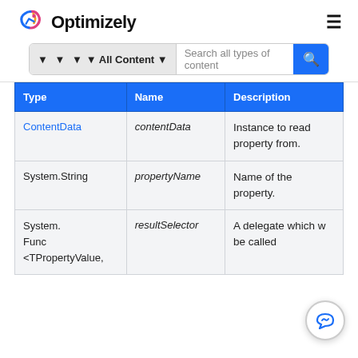Optimizely
| Type | Name | Description |
| --- | --- | --- |
| ContentData | contentData | Instance to read property from. |
| System.String | propertyName | Name of the property. |
| System.Func<TPropertyValue, | resultSelector | A delegate which will be called |